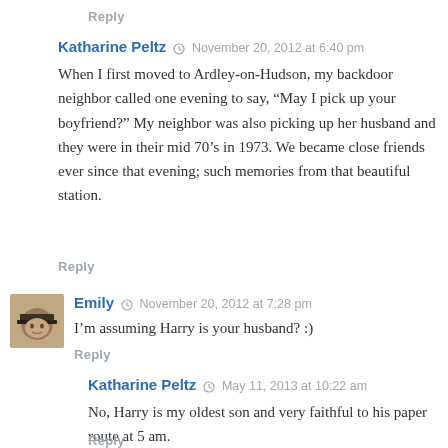Reply
Katharine Peltz  November 20, 2012 at 6:40 pm
When I first moved to Ardley-on-Hudson, my backdoor neighbor called one evening to say, “May I pick up your boyfriend?” My neighbor was also picking up her husband and they were in their mid 70’s in 1973. We became close friends ever since that evening; such memories from that beautiful station.
Reply
[Figure (photo): Small square avatar photo of Emily, wearing a hat]
Emily  November 20, 2012 at 7:28 pm
I’m assuming Harry is your husband? :)
Reply
Katharine Peltz  May 11, 2013 at 10:22 am
No, Harry is my oldest son and very faithful to his paper route at 5 am.
Reply